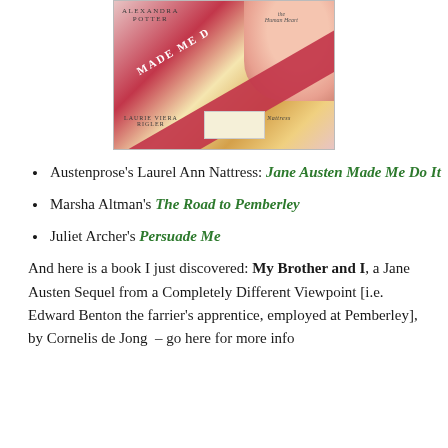[Figure (photo): Book cover image of 'Jane Austen Made Me Do It' anthology, showing a woman's face, pink/red diagonal banner with title text, and author names including Alexandra Potter, Laurie Viera Rigler, edited by Laurel Ann Nattress.]
Austenprose's Laurel Ann Nattress: Jane Austen Made Me Do It
Marsha Altman's The Road to Pemberley
Juliet Archer's Persuade Me
And here is a book I just discovered: My Brother and I, a Jane Austen Sequel from a Completely Different Viewpoint [i.e. Edward Benton the farrier's apprentice, employed at Pemberley], by Cornelis de Jong – go here for more info